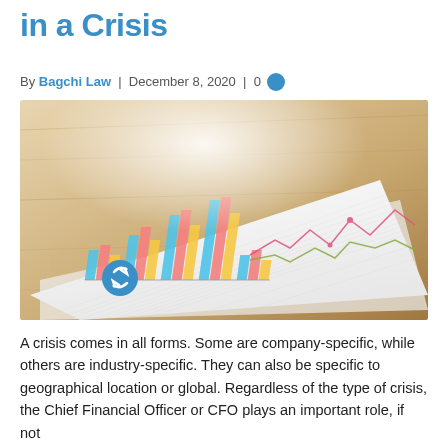in a Crisis
By Bagchi Law | December 8, 2020 | 0
[Figure (photo): Overhead photo of financial report papers on a wooden desk showing bar charts and line charts, with a blue circular icon visible at the bottom left of the papers.]
A crisis comes in all forms. Some are company-specific, while others are industry-specific. They can also be specific to geographical location or global. Regardless of the type of crisis, the Chief Financial Officer or CFO plays an important role, if not